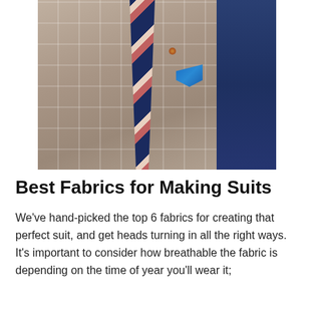[Figure (photo): Close-up photo of a man wearing a brown windowpane check suit jacket with a striped navy and pink tie, blue pocket square, and lapel pin. A second person in a navy suit is partially visible on the right.]
Best Fabrics for Making Suits
We’ve hand-picked the top 6 fabrics for creating that perfect suit, and get heads turning in all the right ways. It’s important to consider how breathable the fabric is depending on the time of year you’ll wear it;